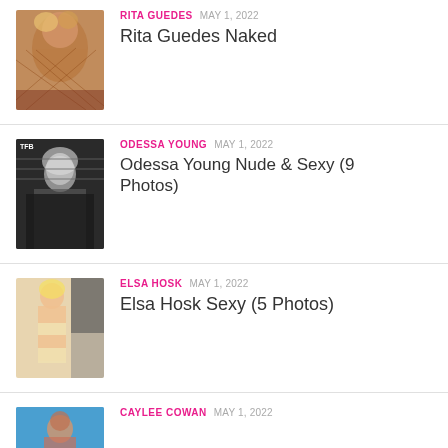RITA GUEDES  MAY 1, 2022
Rita Guedes Naked
ODESSA YOUNG  MAY 1, 2022
Odessa Young Nude & Sexy (9 Photos)
ELSA HOSK  MAY 1, 2022
Elsa Hosk Sexy (5 Photos)
CAYLEE COWAN  MAY 1, 2022